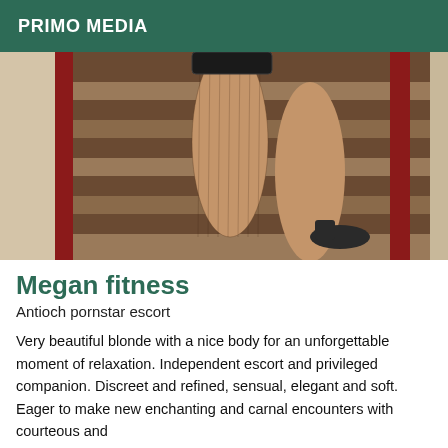PRIMO MEDIA
[Figure (photo): Photo of legs in fishnet stockings and heels on a red staircase]
Megan fitness
Antioch pornstar escort
Very beautiful blonde with a nice body for an unforgettable moment of relaxation. Independent escort and privileged companion. Discreet and refined, sensual, elegant and soft. Eager to make new enchanting and carnal encounters with courteous and respectful men. My meetings are unforgettable, always based on trust and mutual respect.